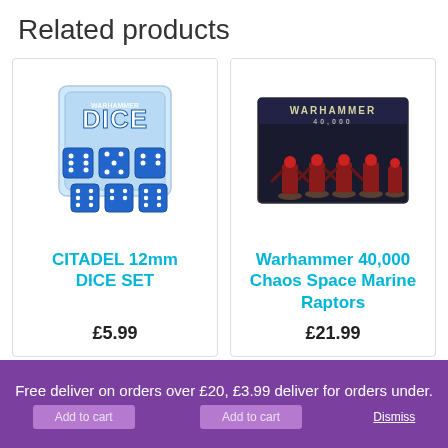Related products
[Figure (photo): Citadel 12mm Dice Set – blue translucent dice in a plastic cube container with Warhammer branding]
CITADEL 12mm DICE SET
£5.99
[Figure (photo): Warhammer 40,000 Chaos Space Marine Raptors – dark box with miniature figures of armoured warriors]
Warhammer 40,000 Chaos Space Marine Raptors
£21.99
Free deliver on orders over £20, £3.99 deliver for orders under. Dismiss